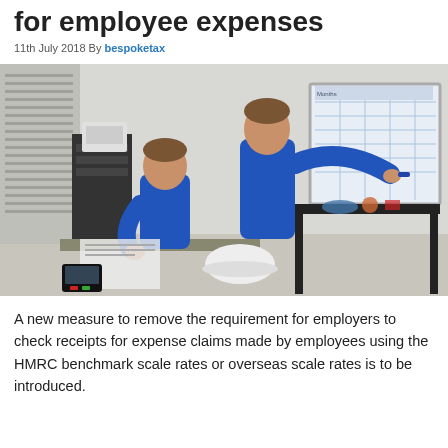for employee expenses
11th July 2018 By bespoketax
[Figure (photo): Two workers in blue uniforms in an office setting. One is seated at a desk, the other is standing at a whiteboard writing. There are office supplies and equipment visible in the background.]
A new measure to remove the requirement for employers to check receipts for expense claims made by employees using the HMRC benchmark scale rates or overseas scale rates is to be introduced.